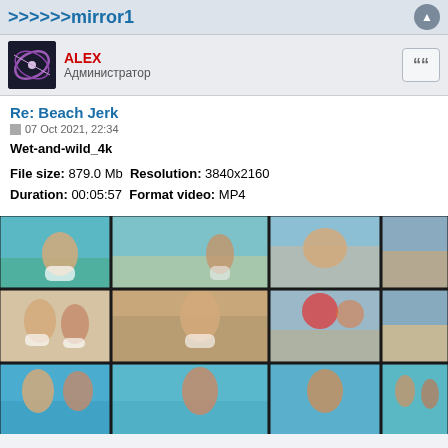>>>>>>mirror1
ALEX
Администратор
Re: Beach Jerk
07 Oct 2021, 22:34
Wet-and-wild_4k
File size: 879.0 Mb  Resolution: 3840x2160
Duration: 00:05:57  Format video: MP4
[Figure (photo): Video thumbnail grid showing beach scenes with people in swimwear across multiple frames arranged in rows]